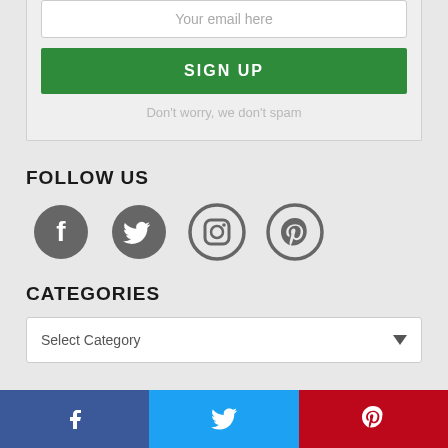Your email here
SIGN UP
Don't worry, we don't spam
FOLLOW US
[Figure (illustration): Social media icons: Facebook, Twitter, Instagram, Pinterest]
CATEGORIES
Select Category
[Figure (illustration): Footer bar with Facebook (blue), Twitter (light blue), and Pinterest (red) share buttons with icons]